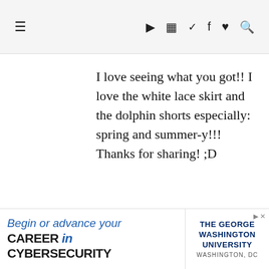≡  ▶ 📷 🐦 f ♥ 🔍
I love seeing what you got!! I love the white lace skirt and the dolphin shorts especially: spring and summer-y!!! Thanks for sharing! ;D
Reply
LIN RIOS
March 29, 2011 at 9:22 PM
Hey Jen, I'm enjoying reading
[Figure (other): Ad banner for The George Washington University Cybersecurity program. Text: 'Begin or advance your CAREER in CYBERSECURITY' and 'THE GEORGE WASHINGTON UNIVERSITY WASHINGTON, DC']